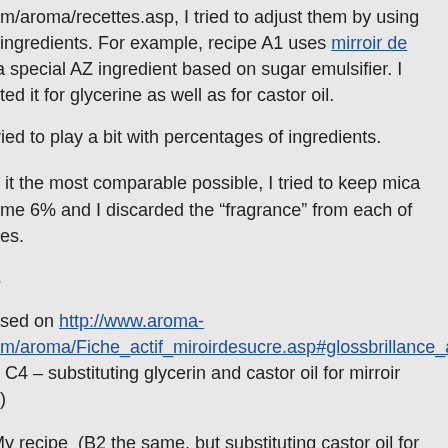om/aroma/recettes.asp, I tried to adjust them by using t ingredients. For example, recipe A1 uses mirroir de a special AZ ingredient based on sugar emulsifier. I uted it for glycerine as well as for castor oil.
tried to play a bit with percentages of ingredients.
e it the most comparable possible, I tried to keep mica ame 6% and I discarded the “fragrance” from each of pes.
s
ased on http://www.aroma-om/aroma/Fiche_actif_miroirdesucre.asp#glossbrillance_abricot d C4 – substituting glycerin and castor oil for mirroir e)
My recipe  (B2 the same, but substituting castor oil for n)
ased on http://www.aroma-om/aroma/Fiche_substitut_lanoline.asp#Gloss-levres-